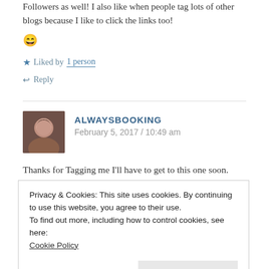Followers as well! I also like when people tag lots of other blogs because I like to click the links too! 😄
★ Liked by 1 person
↩ Reply
ALWAYSBOOKING
February 5, 2017 / 10:49 am
Thanks for Tagging me I'll have to get to this one soon. Although I have to say I have never played SIMS.
Privacy & Cookies: This site uses cookies. By continuing to use this website, you agree to their use.
To find out more, including how to control cookies, see here:
Cookie Policy
[Close and accept]
THESASSYGEEK